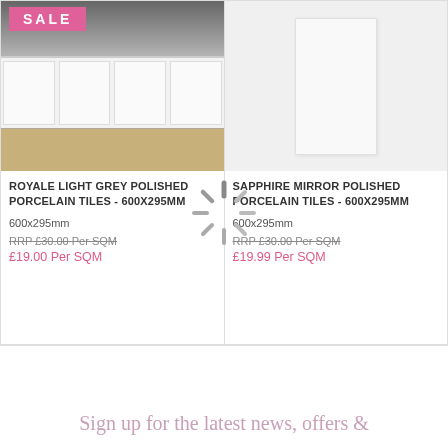[Figure (photo): Kitchen scene with white cabinets and dark countertop, with a pink SALE banner overlay]
[Figure (photo): White polished porcelain tile product image on light background]
ROYALE LIGHT GREY POLISHED PORCELAIN TILES - 600X295MM
600x295mm
RRP £30.00 Per SQM
£19.00 Per SQM
SAPPHIRE MIRROR POLISHED PORCELAIN TILES - 600X295MM
600x295mm
RRP £30.00 Per SQM
£19.99 Per SQM
Sign up for the latest news, offers &